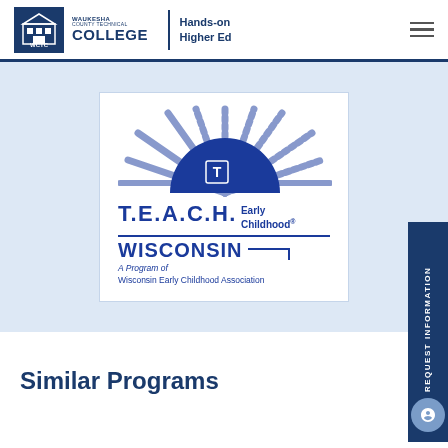[Figure (logo): Waukesha County Technical College logo with WCTC icon, college name, and 'Hands-on Higher Ed' tagline]
[Figure (logo): T.E.A.C.H. Early Childhood® WISCONSIN logo — A Program of Wisconsin Early Childhood Association]
Similar Programs